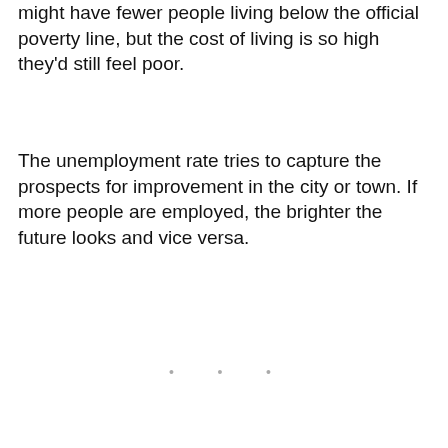might have fewer people living below the official poverty line, but the cost of living is so high they'd still feel poor.
The unemployment rate tries to capture the prospects for improvement in the city or town. If more people are employed, the brighter the future looks and vice versa.